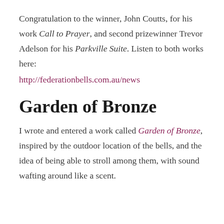Congratulation to the winner, John Coutts, for his work Call to Prayer, and second prizewinner Trevor Adelson for his Parkville Suite. Listen to both works here:
http://federationbells.com.au/news
Garden of Bronze
I wrote and entered a work called Garden of Bronze, inspired by the outdoor location of the bells, and the idea of being able to stroll among them, with sound wafting around like a scent.